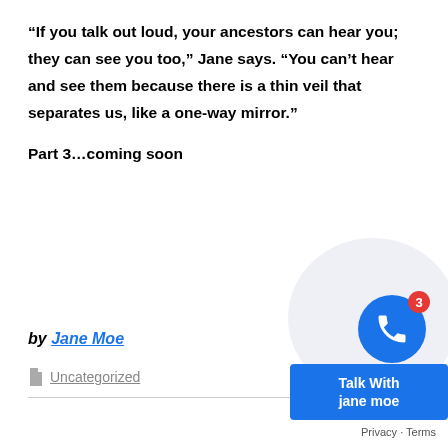“If you talk out loud, your ancestors can hear you; they can see you too,” Jane says. “You can’t hear and see them because there is a thin veil that separates us, like a one-way mirror.”
Part 3…coming soon
by Jane Moe
Uncategorized
[Figure (other): Chat widget showing a blue phone icon with a red badge showing '3', a light blue circular background, a blue 'Talk With jane moe' button, and a 'Privacy · Terms' footer link.]